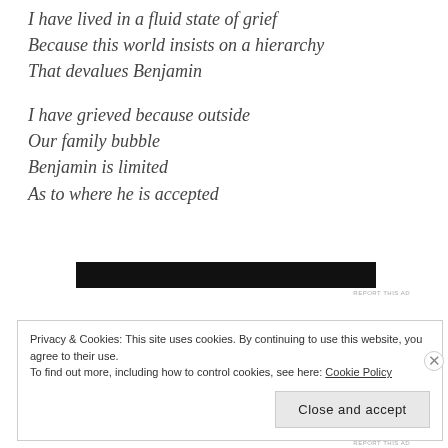I have lived in a fluid state of grief
Because this world insists on a hierarchy
That devalues Benjamin
I have grieved because outside
Our family bubble
Benjamin is limited
As to where he is accepted
[Figure (other): Black advertisement banner]
REPORT THIS AD
Privacy & Cookies: This site uses cookies. By continuing to use this website, you agree to their use.
To find out more, including how to control cookies, see here: Cookie Policy
Close and accept
REPORT THIS AD